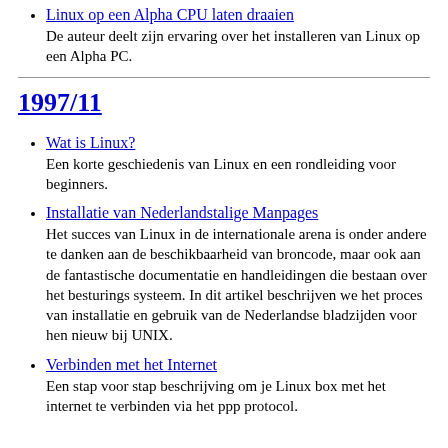Linux op een Alpha CPU laten draaien
De auteur deelt zijn ervaring over het installeren van Linux op een Alpha PC.
1997/11
Wat is Linux?
Een korte geschiedenis van Linux en een rondleiding voor beginners.
Installatie van Nederlandstalige Manpages
Het succes van Linux in de internationale arena is onder andere te danken aan de beschikbaarheid van broncode, maar ook aan de fantastische documentatie en handleidingen die bestaan over het besturings systeem. In dit artikel beschrijven we het proces van installatie en gebruik van de Nederlandse bladzijden voor hen nieuw bij UNIX.
Verbinden met het Internet
Een stap voor stap beschrijving om je Linux box met het internet te verbinden via het ppp protocol.